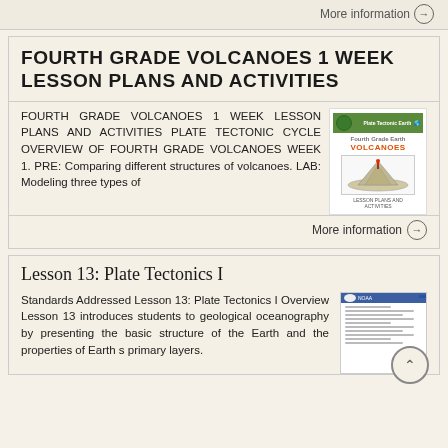More information →
FOURTH GRADE VOLCANOES 1 WEEK LESSON PLANS AND ACTIVITIES
FOURTH GRADE VOLCANOES 1 WEEK LESSON PLANS AND ACTIVITIES PLATE TECTONIC CYCLE OVERVIEW OF FOURTH GRADE VOLCANOES WEEK 1. PRE: Comparing different structures of volcanoes. LAB: Modeling three types of
[Figure (illustration): Book cover thumbnail for Fourth Grade Volcanoes lesson plans with globe icon and diagram]
More information →
Lesson 13: Plate Tectonics I
Standards Addressed Lesson 13: Plate Tectonics I Overview Lesson 13 introduces students to geological oceanography by presenting the basic structure of the Earth and the properties of Earth s primary layers.
[Figure (illustration): NOAA document thumbnail with blue bracket and back-to-top button]